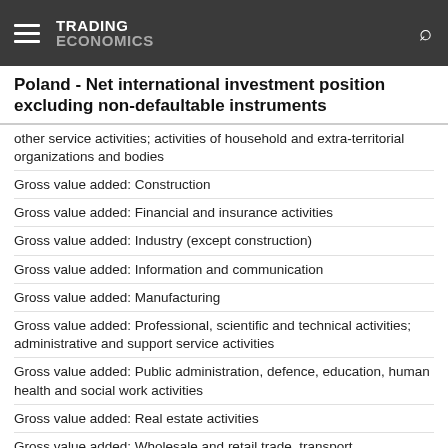TRADING ECONOMICS
Poland - Net international investment position excluding non-defaultable instruments
other service activities; activities of household and extra-territorial organizations and bodies
Gross value added: Construction
Gross value added: Financial and insurance activities
Gross value added: Industry (except construction)
Gross value added: Information and communication
Gross value added: Manufacturing
Gross value added: Professional, scientific and technical activities; administrative and support service activities
Gross value added: Public administration, defence, education, human health and social work activities
Gross value added: Real estate activities
Gross value added: Wholesale and retail trade, transport, accommodation and food service activities
Household saving rate
Households investment rate
Imports of goods and services